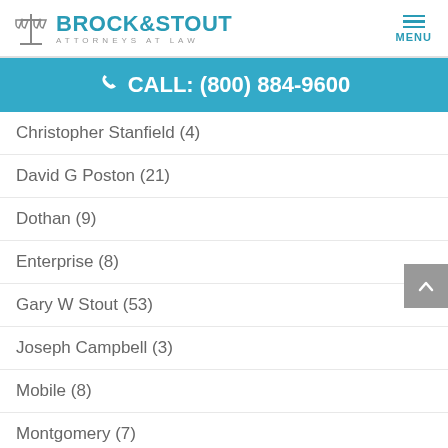BROCK & STOUT ATTORNEYS AT LAW | MENU
CALL: (800) 884-9600
Christopher Stanfield (4)
David G Poston (21)
Dothan (9)
Enterprise (8)
Gary W Stout (53)
Joseph Campbell (3)
Mobile (8)
Montgomery (7)
Opelika (6)